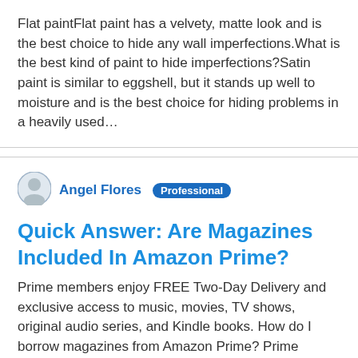Flat paintFlat paint has a velvety, matte look and is the best choice to hide any wall imperfections.What is the best kind of paint to hide imperfections?Satin paint is similar to eggshell, but it stands up well to moisture and is the best choice for hiding problems in a heavily used…
[Figure (illustration): Circular avatar/profile icon placeholder graphic in blue and grey]
Angel Flores  Professional
Quick Answer: Are Magazines Included In Amazon Prime?
Prime members enjoy FREE Two-Day Delivery and exclusive access to music, movies, TV shows, original audio series, and Kindle books. How do I borrow magazines from Amazon Prime? Prime members can borrow one book from Kindle Owners' Lending Library each calendar month.To